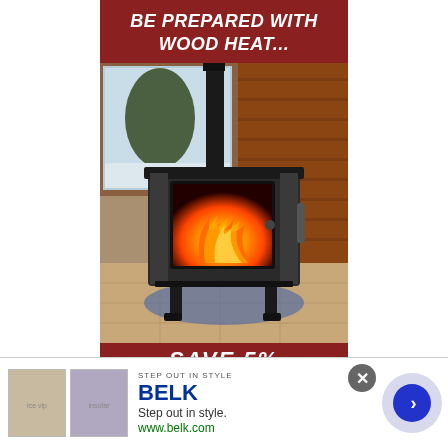BE PREPARED WITH WOOD HEAT...
[Figure (photo): A wood-burning stove with visible flames through a glass door, set in a living room with log cabin wood paneling and a snowy outdoor scene visible through a window, with a chimney pipe going up.]
SAVE 5%
[Figure (other): Belk advertisement banner at bottom: two thumbnail images of fashion items, BELK logo in blue, tagline 'Step out in style.', URL www.belk.com, close button and arrow navigation button.]